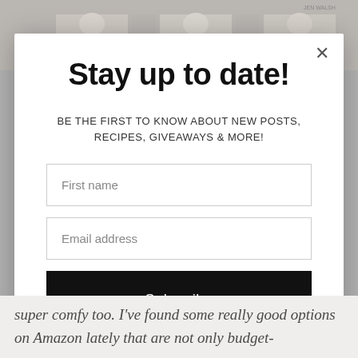[Figure (screenshot): Background showing fashion model images strip at the top, grayed out behind modal overlay]
Stay up to date!
BE THE FIRST TO KNOW ABOUT NEW POSTS, RECIPES, GIVEAWAYS & MORE!
First name
Email address
Subscribe
super comfy too. I've found some really good options on Amazon lately that are not only budget-